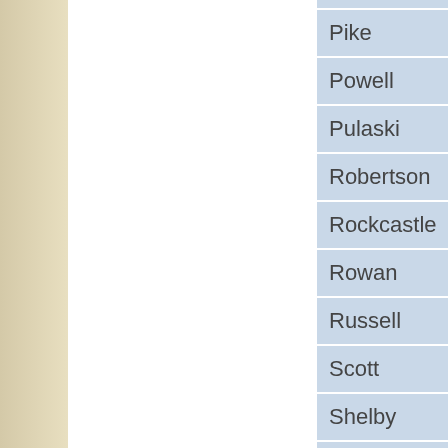Pike
Powell
Pulaski
Robertson
Rockcastle
Rowan
Russell
Scott
Shelby
Simpson
Spencer
Taylor
Todd
Trigg